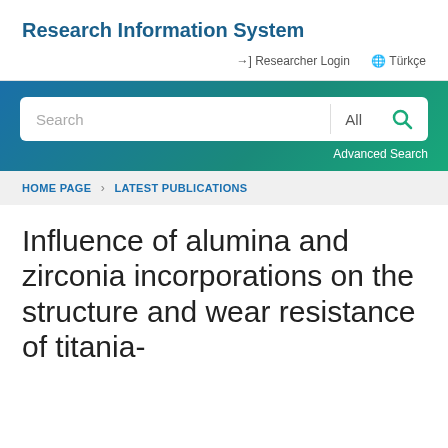Research Information System
Researcher Login   Türkçe
[Figure (screenshot): Search bar with 'Search' input, 'All' dropdown, and search icon button on a teal-blue gradient banner with 'Advanced Search' link]
HOME PAGE > LATEST PUBLICATIONS
Influence of alumina and zirconia incorporations on the structure and wear resistance of titania-